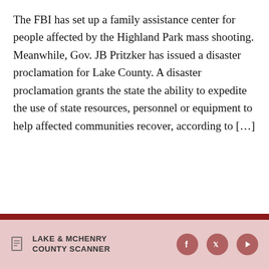The FBI has set up a family assistance center for people affected by the Highland Park mass shooting. Meanwhile, Gov. JB Pritzker has issued a disaster proclamation for Lake County. A disaster proclamation grants the state the ability to expedite the use of state resources, personnel or equipment to help affected communities recover, according to […]
LAKE & MCHENRY COUNTY SCANNER